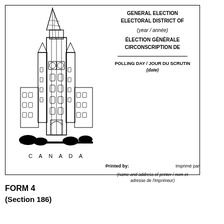[Figure (illustration): Line drawing of the Peace Tower / Centre Block of the Canadian Parliament building in Ottawa]
C A N A D A
GENERAL ELECTION
ELECTORAL DISTRICT OF
(year / année)
ÉLECTION GÉNÉRALE
CIRCONSCRIPTION DE
POLLING DAY / JOUR DU SCRUTIN
(date)
Printed by:    Imprimé par
(name and address of printer / nom et adresse de l'imprimeur)
FORM 4
(Section 186)